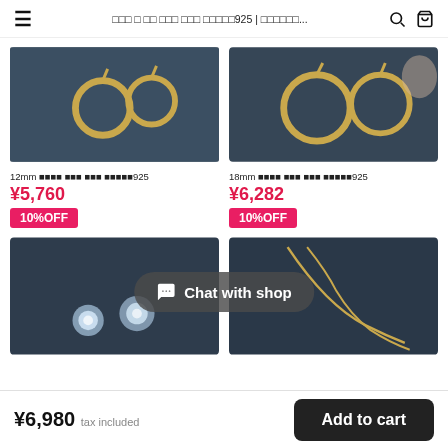≡  ░░░ ░ ░░ ░░░ ░░░ ░░░░░925 | ░░░░░░...  🔍  🛒
[Figure (photo): Gold hoop earrings (12mm) on dark navy fabric]
12mm ░░░░ ░░░ ░░░ ░░░░░925
¥5,760
10%OFF
[Figure (photo): Gold hoop earrings (18mm) on dark navy fabric]
18mm ░░░░ ░░░ ░░░ ░░░░░925
¥6,282
10%OFF
[Figure (photo): Crystal stud earrings on dark background]
[Figure (photo): Gold chain necklace on dark background]
Chat with shop
¥6,980 tax included
Add to cart